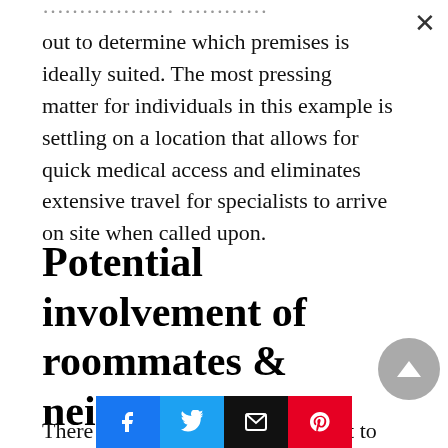...through assessment will have to be carried out to determine which premises is ideally suited. The most pressing matter for individuals in this example is settling on a location that allows for quick medical access and eliminates extensive travel for specialists to arrive on site when called upon.
Potential involvement of roommates & neighbours
There will be individuals who want to sign up for